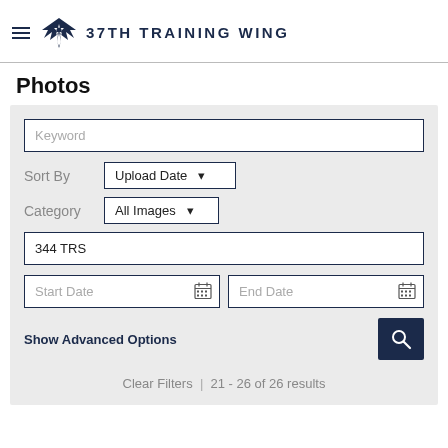37TH TRAINING WING
Photos
[Figure (screenshot): Search and filter form for photos with fields: Keyword, Sort By (Upload Date), Category (All Images), unit field (344 TRS), Start Date, End Date, Show Advanced Options, and Search button. Results: 21 - 26 of 26 results.]